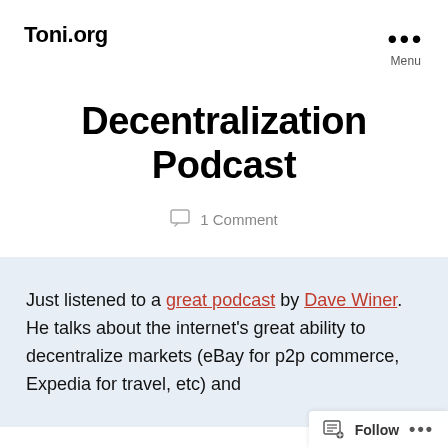Toni.org
Decentralization Podcast
1 Comment
Just listened to a great podcast by Dave Winer. He talks about the internet's great ability to decentralize markets (eBay for p2p commerce, Expedia for travel, etc) and